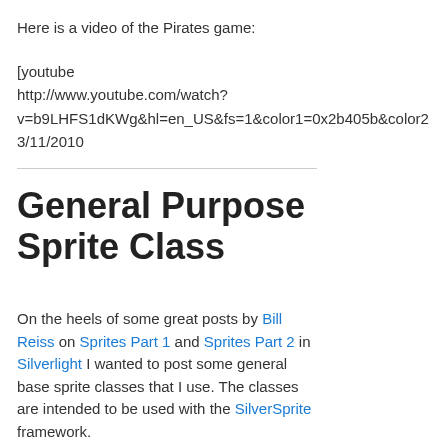Here is a video of the Pirates game:
[youtube http://www.youtube.com/watch?v=b9LHFS1dKWg&hl=en_US&fs=1&color1=0x2b405b&color2 3/11/2010
General Purpose Sprite Class
On the heels of some great posts by Bill Reiss on Sprites Part 1 and Sprites Part 2 in Silverlight I wanted to post some general base sprite classes that I use. The classes are intended to be used with the SilverSprite framework.